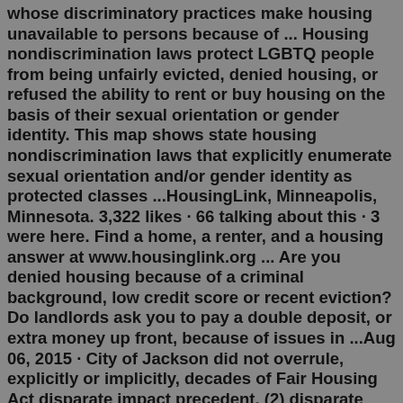whose discriminatory practices make housing unavailable to persons because of ... Housing nondiscrimination laws protect LGBTQ people from being unfairly evicted, denied housing, or refused the ability to rent or buy housing on the basis of their sexual orientation or gender identity. This map shows state housing nondiscrimination laws that explicitly enumerate sexual orientation and/or gender identity as protected classes ...HousingLink, Minneapolis, Minnesota. 3,322 likes · 66 talking about this · 3 were here. Find a home, a renter, and a housing answer at www.housinglink.org ... Are you denied housing because of a criminal background, low credit score or recent eviction? Do landlords ask you to pay a double deposit, or extra money up front, because of issues in ...Aug 06, 2015 · City of Jackson did not overrule, explicitly or implicitly, decades of Fair Housing Act disparate impact precedent, (2) disparate treatment claims do not require proof of ill intent, and (3) Equal Credit Opportunity Act claims do not require a denial of credit. The court dismissed the complaint and Mr.